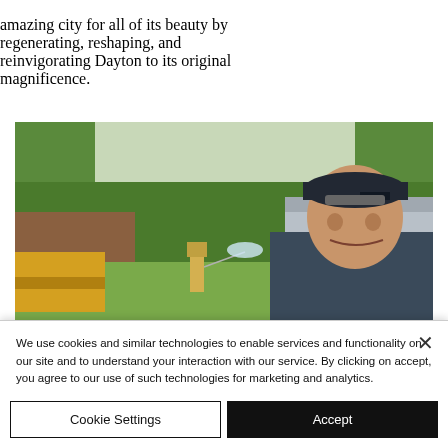amazing city for all of its beauty by regenerating, reshaping, and reinvigorating Dayton to its original magnificence.
[Figure (photo): A man in a dark polo shirt and baseball cap smiles in a residential yard. In the background, a worker uses a hose and construction equipment (skid steer) is visible near a house being demolished or renovated, with green trees behind.]
We use cookies and similar technologies to enable services and functionality on our site and to understand your interaction with our service. By clicking on accept, you agree to our use of such technologies for marketing and analytics.
Cookie Settings
Accept